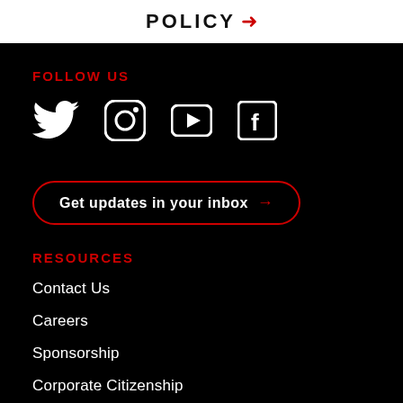POLICY →
FOLLOW US
[Figure (illustration): Social media icons: Twitter bird, Instagram camera, YouTube play button, Facebook F logo — all white on black background]
Get updates in your inbox →
RESOURCES
Contact Us
Careers
Sponsorship
Corporate Citizenship